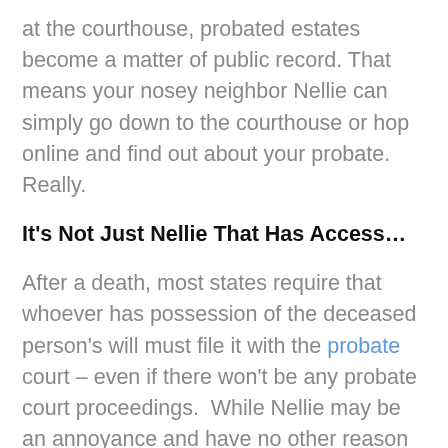at the courthouse, probated estates become a matter of public record. That means your nosey neighbor Nellie can simply go down to the courthouse or hop online and find out about your probate. Really.
It's Not Just Nellie That Has Access…
After a death, most states require that whoever has possession of the deceased person's will must file it with the probate court – even if there won't be any probate court proceedings.  While Nellie may be an annoyance and have no other reason to view the information other than curiosity, others can get access to your public records and make your beneficiaries' lives miserable, such as: